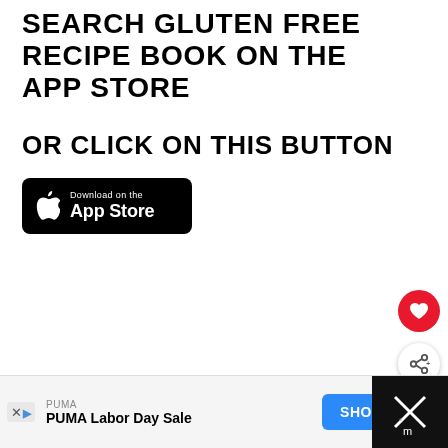SEARCH GLUTEN FREE RECIPE BOOK ON THE APP STORE
OR CLICK ON THIS BUTTON
[Figure (screenshot): Download on the App Store button — black rounded rectangle with Apple logo and text 'Download on the App Store']
[Figure (infographic): Red circular heart/favourite button and white circular share button on right edge]
[Figure (infographic): What's Next panel: Recipe Book App Updates! with thumbnail]
iPhone, and iPod touch are
[Figure (screenshot): Advertisement bar: PUMA Labor Day Sale — SHOP NOW button, and dark panel bottom right]